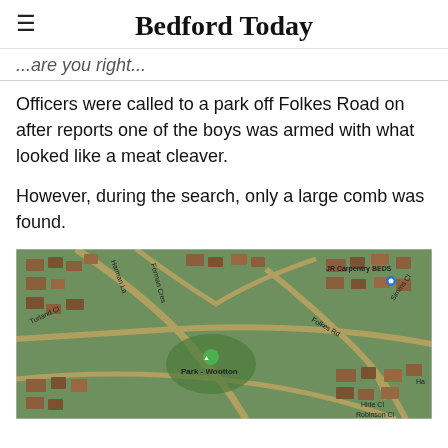Bedford Today
...are you right...
Officers were called to a park off Folkes Road on after reports one of the boys was armed with what looked like a meat cleaver.
However, during the search, only a large comb was found.
[Figure (map): Aerial satellite map showing Park - Wootton area near Folkes Road, Bedford. Labels visible include JR Carpentry BEDS, Turland Cl, Folkes Rd, Simms Cl, Park-Wootton, Hide Cl, Robinson Cl, Forman Cres.]